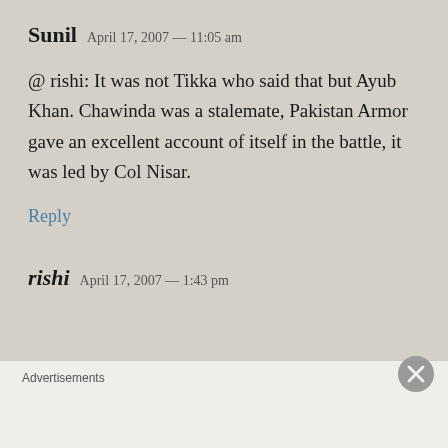Sunil  April 17, 2007 — 11:05 am
@ rishi: It was not Tikka who said that but Ayub Khan. Chawinda was a stalemate, Pakistan Armor gave an excellent account of itself in the battle, it was led by Col Nisar.
Reply
rishi  April 17, 2007 — 1:43 pm
Advertisements